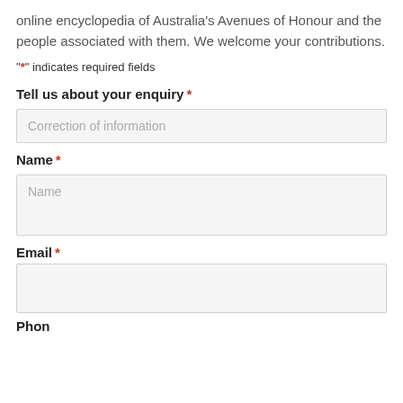online encyclopedia of Australia's Avenues of Honour and the people associated with them. We welcome your contributions.
"*" indicates required fields
Tell us about your enquiry *
Correction of information
Name *
Name
Email *
Phone